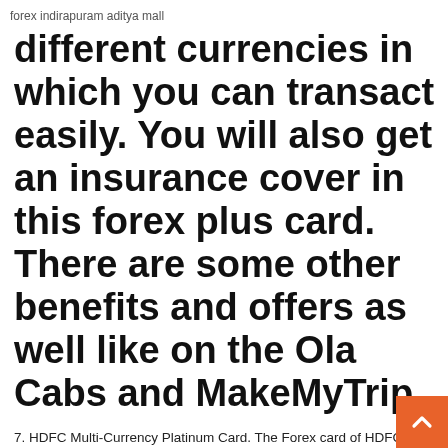forex indirapuram aditya mall
different currencies in which you can transact easily. You will also get an insurance cover in this forex plus card. There are some other benefits and offers as well like on the Ola Cabs and MakeMyTrip.
7. HDFC Multi-Currency Platinum Card. The Forex card of HDFC has the facility to carry 22 currencies in the single card with 2% conversion fee which is the lowest of all Forex cards available in India. The issuing fee for the card is 500 which is a bit high compared to others, it is compensated with low conversion fee special offers, global Get 10X Rewards on International Spends